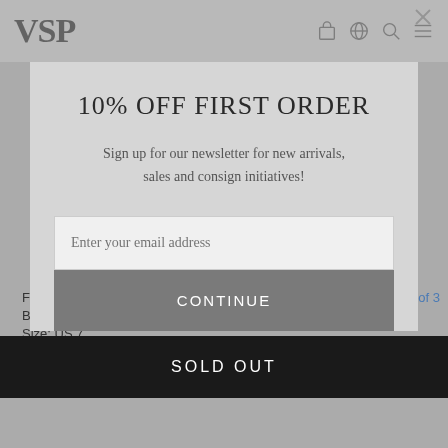[Figure (screenshot): VSP website navigation bar with logo and icons]
10% OFF FIRST ORDER
Sign up for our newsletter for new arrivals, sales and consign initiatives!
Enter your email address
CONTINUE
Fendi
Black Rubber Studded Flat
Size: US 7
SOLD OUT